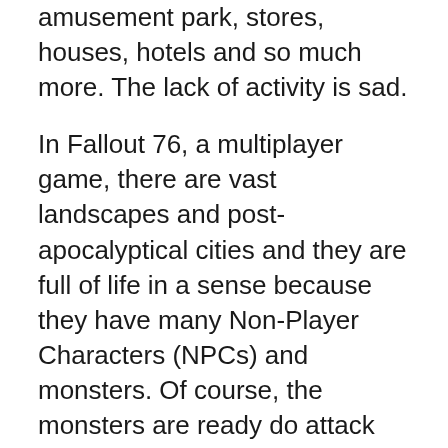amusement park, stores, houses, hotels and so much more. The lack of activity is sad.
In Fallout 76, a multiplayer game, there are vast landscapes and post-apocalyptical cities and they are full of life in a sense because they have many Non-Player Characters (NPCs) and monsters. Of course, the monsters are ready do attack you, so you often have to fight for your life, but hey (*smiles*). That artificial activity gives FO76 a sense of life that is missing in SL, except at the SL clubs and a few sites. Perhaps, a city like Bay City would be far more enjoyable if there were some NPCs doing menial tasks, maybe even talking about their personal stories. It's just an idea and would probably create a great deal of stress on SL's underlying game architecture, but I saw signs that work is being done on something akin to NPCs. Just saying. OTOH,